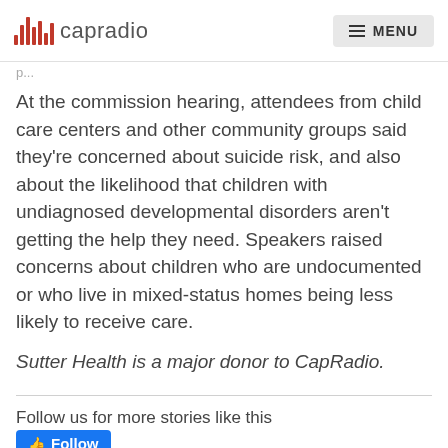capradio  MENU
At the commission hearing, attendees from child care centers and other community groups said they’re concerned about suicide risk, and also about the likelihood that children with undiagnosed developmental disorders aren’t getting the help they need. Speakers raised concerns about children who are undocumented or who live in mixed-status homes being less likely to receive care.
Sutter Health is a major donor to CapRadio.
Follow us for more stories like this
[Figure (other): Facebook Follow button in blue]